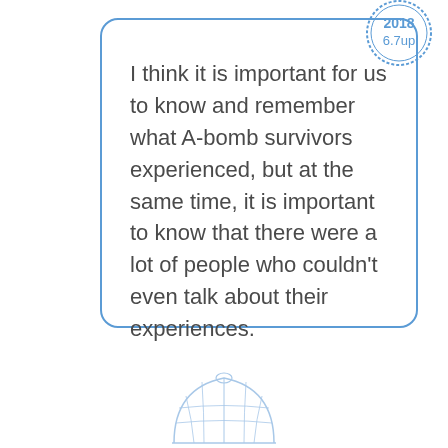[Figure (other): Circular stamp/badge with text '2018' and '6.7up' in blue, positioned at top-right of card]
I think it is important for us to know and remember what A-bomb survivors experienced, but at the same time, it is important to know that there were a lot of people who couldn't even talk about their experiences.
[Figure (illustration): Light blue outline illustration of the Hiroshima Peace Memorial (Atomic Bomb Dome) at the bottom of the page]